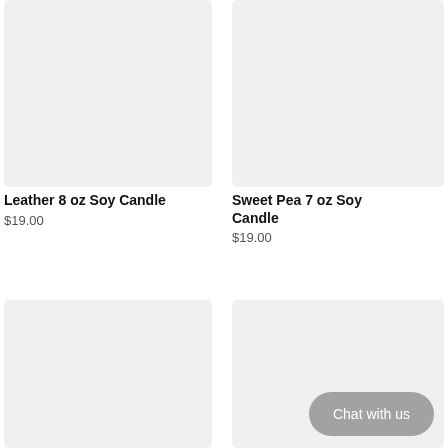[Figure (photo): Product image placeholder for Leather 8 oz Soy Candle — light gray rectangle]
[Figure (photo): Product image placeholder for Sweet Pea 7 oz Soy Candle — light gray rectangle]
Leather 8 oz Soy Candle
$19.00
Sweet Pea 7 oz Soy Candle
$19.00
[Figure (photo): Product image placeholder — light gray rectangle, bottom left]
[Figure (photo): Product image placeholder — light gray rectangle, bottom right, with Chat with us button overlay]
Chat with us